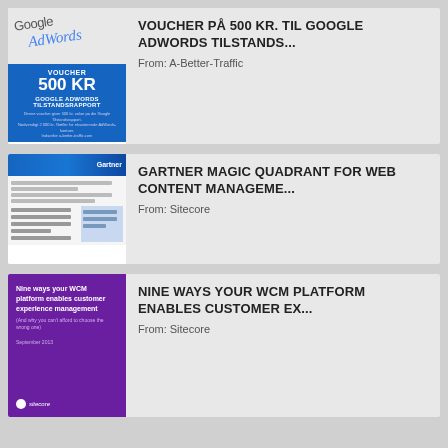[Figure (illustration): Thumbnail image of a Google AdWords voucher for 500 KR with a blue background showing 'GOOGLE ADWORDS TILSTANDSRAPPORT']
VOUCHER PÅ 500 KR. TIL GOOGLE ADWORDS TILSTANDS...
From: A-Better-Traffic
[Figure (screenshot): Thumbnail of a Gartner report page with blue header and document content below]
GARTNER MAGIC QUADRANT FOR WEB CONTENT MANAGEME...
From: Sitecore
[Figure (illustration): Thumbnail of a purple book cover: 'Nine ways your WCM platform enables customer experience management' with Sitecore logo]
NINE WAYS YOUR WCM PLATFORM ENABLES CUSTOMER EX...
From: Sitecore